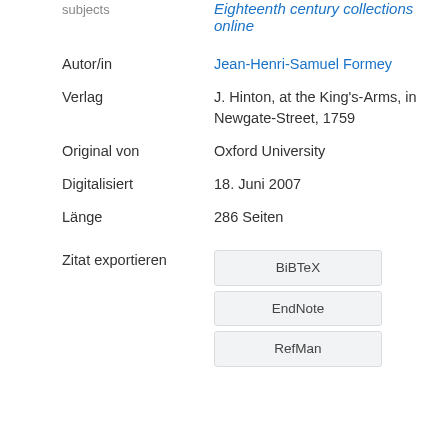subjects
Eighteenth century collections online
| Autor/in | Jean-Henri-Samuel Formey |
| Verlag | J. Hinton, at the King's-Arms, in Newgate-Street, 1759 |
| Original von | Oxford University |
| Digitalisiert | 18. Juni 2007 |
| Länge | 286 Seiten |
| Zitat exportieren | BiBTeX / EndNote / RefMan |